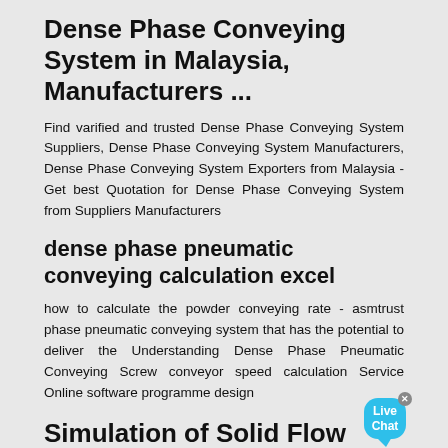Dense Phase Conveying System in Malaysia, Manufacturers ...
Find varified and trusted Dense Phase Conveying System Suppliers, Dense Phase Conveying System Manufacturers, Dense Phase Conveying System Exporters from Malaysia - Get best Quotation for Dense Phase Conveying System from Suppliers Manufacturers
dense phase pneumatic conveying calculation excel
[Figure (other): Live Chat bubble widget with close button]
how to calculate the powder conveying rate - asmtrust phase pneumatic conveying system that has the potential to deliver the Understanding Dense Phase Pneumatic Conveying Screw conveyor speed calculation Service Online software programme design
Simulation of Solid Flow Behavior in Dense Phase Pneumatic ...
Pneumatic conveying, dense phase, mathematic model,